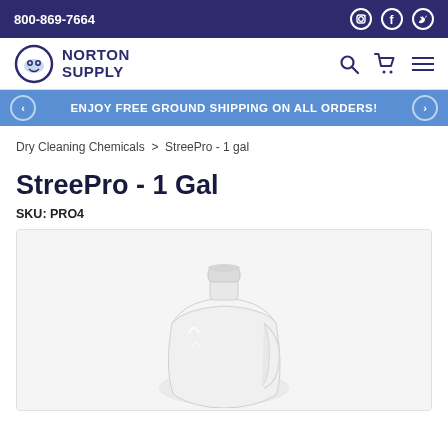800-869-7664
[Figure (logo): Norton Supply logo with circular water drop icon and bold text NORTON SUPPLY]
ENJOY FREE GROUND SHIPPING ON ALL ORDERS!
Dry Cleaning Chemicals > StreePro - 1 gal
StreePro - 1 Gal
SKU: PRO4
[Figure (photo): White plastic 1-gallon jug with white cap on white background]